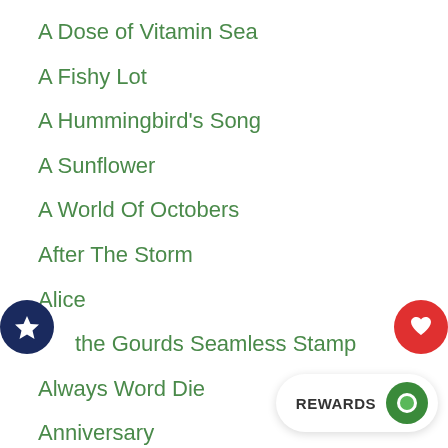A Dose of Vitamin Sea
A Fishy Lot
A Hummingbird's Song
A Sunflower
A World Of Octobers
After The Storm
Alice
…the Gourds Seamless Stamp
Always Word Die
Anniversary
Aquarius Girl
arctic winter stencil
Artsy Sun Stencil